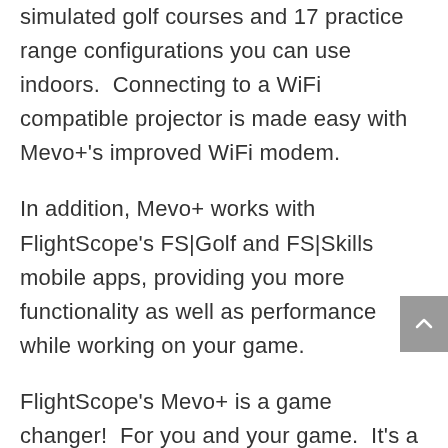simulated golf courses and 17 practice range configurations you can use indoors.  Connecting to a WiFi compatible projector is made easy with Mevo+'s improved WiFi modem.
In addition, Mevo+ works with FlightScope's FS|Golf and FS|Skills mobile apps, providing you more functionality as well as performance while working on your game.
FlightScope's Mevo+ is a game changer!  For you and your game.  It's a tool any golfer can use to make improvements